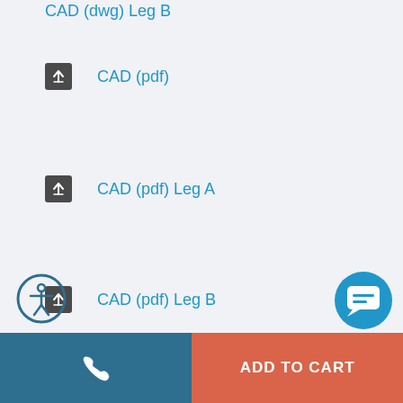CAD (dwg) Leg B
CAD (pdf)
CAD (pdf) Leg A
CAD (pdf) Leg B
[Figure (other): Accessibility icon - person in circle outline]
[Figure (other): Chat bubble icon button]
[Figure (other): Phone call button - teal background]
ADD TO CART